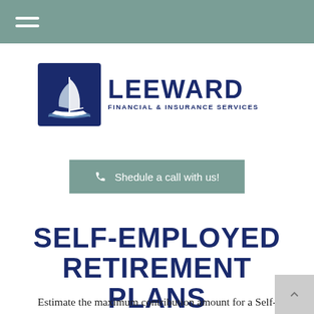Navigation header bar with hamburger menu
[Figure (logo): Leeward Financial & Insurance Services logo with sailboat icon in blue square and company name text]
Shedule a call with us!
SELF-EMPLOYED RETIREMENT PLANS
Estimate the maximum contribution amount for a Self-